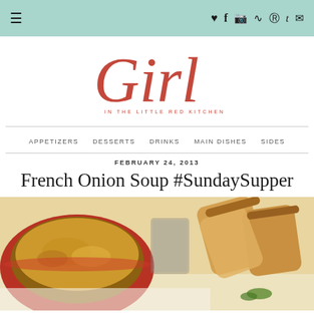≡  ♥ f ⊡ ))) ® t ✉
[Figure (logo): Girl in the Little Red Kitchen blog logo — cursive red script 'Girl' with subtitle 'IN THE LITTLE RED KITCHEN' in small red caps]
APPETIZERS  DESSERTS  DRINKS  MAIN DISHES  SIDES
FEBRUARY 24, 2013
French Onion Soup #SundaySupper
[Figure (photo): Photo of French onion soup in a red bowl topped with melted cheese, with sliced bread in the background on a white surface]